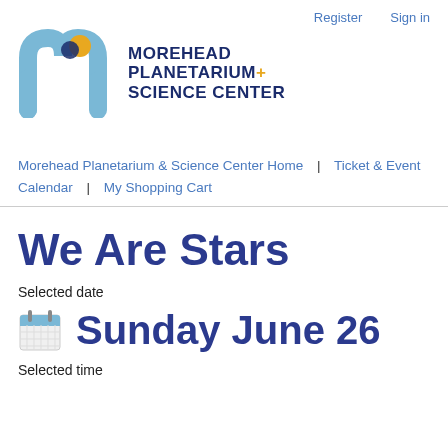Register  Sign in
[Figure (logo): Morehead Planetarium + Science Center logo with stylized blue M arch and yellow/blue dot]
Morehead Planetarium & Science Center Home  |  Ticket & Event Calendar  |  My Shopping Cart
We Are Stars
Selected date
Sunday June 26
Selected time